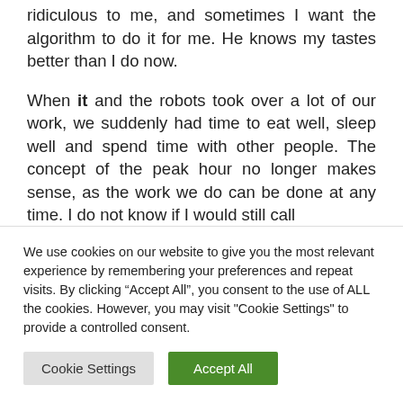ridiculous to me, and sometimes I want the algorithm to do it for me. He knows my tastes better than I do now.
When it and the robots took over a lot of our work, we suddenly had time to eat well, sleep well and spend time with other people. The concept of the peak hour no longer makes sense, as the work we do can be done at any time. I do not know if I would still call
We use cookies on our website to give you the most relevant experience by remembering your preferences and repeat visits. By clicking “Accept All”, you consent to the use of ALL the cookies. However, you may visit "Cookie Settings" to provide a controlled consent.